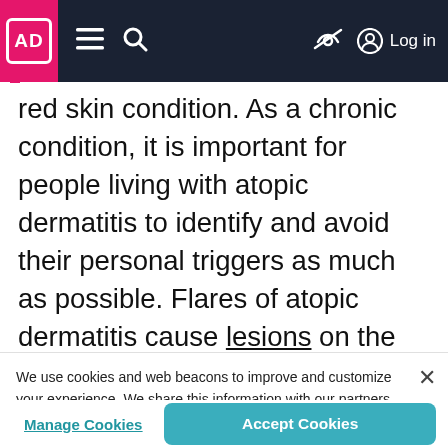AD [logo] | Menu | Search | [hide] | Log in
red skin condition. As a chronic condition, it is important for people living with atopic dermatitis to identify and avoid their personal triggers as much as possible. Flares of atopic dermatitis cause lesions on the skin and intense itching and scratching can lead to infections and lichenification, or thickened
We use cookies and web beacons to improve and customize your experience. We share this information with our partners. By clicking ACCEPT or X, or if you continue to browse, you consent to the use of cookies. For more information, see our Privacy Policy.
Manage Cookies | Accept Cookies